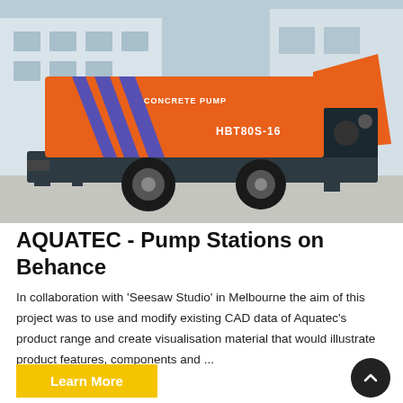[Figure (photo): Orange concrete pump machine labeled 'CONCRETE PUMP HBT80S-16' with blue diagonal stripes, mounted on a wheeled trailer, parked on a concrete surface in front of a building.]
AQUATEC - Pump Stations on Behance
In collaboration with 'Seesaw Studio' in Melbourne the aim of this project was to use and modify existing CAD data of Aquatec's product range and create visualisation material that would illustrate product features, components and ...